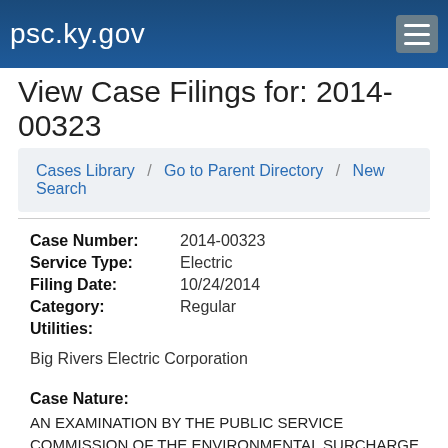psc.ky.gov
View Case Filings for: 2014-00323
Cases Library / Go to Parent Directory / New Search
Case Number: 2014-00323
Service Type: Electric
Filing Date: 10/24/2014
Category: Regular
Utilities:
Big Rivers Electric Corporation
Case Nature:
AN EXAMINATION BY THE PUBLIC SERVICE COMMISSION OF THE ENVIRONMENTAL SURCHARGE MECHANISM OF BIG RIVERS ELECTRIC CORPORATION FOR THE SIX-MONTH BILLING PERIOD ENDING JULY 31, 2014 AND THE PASS THROUGH MECHANISM OF ITS THREE MEMBER